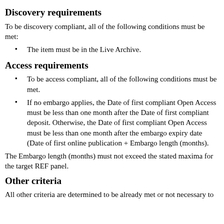Discovery requirements
To be discovery compliant, all of the following conditions must be met:
The item must be in the Live Archive.
Access requirements
To be access compliant, all of the following conditions must be met.
If no embargo applies, the Date of first compliant Open Access must be less than one month after the Date of first compliant deposit. Otherwise, the Date of first compliant Open Access must be less than one month after the embargo expiry date (Date of first online publication + Embargo length (months).
The Embargo length (months) must not exceed the stated maxima for the target REF panel.
Other criteria
All other criteria are determined to be already met or not necessary to